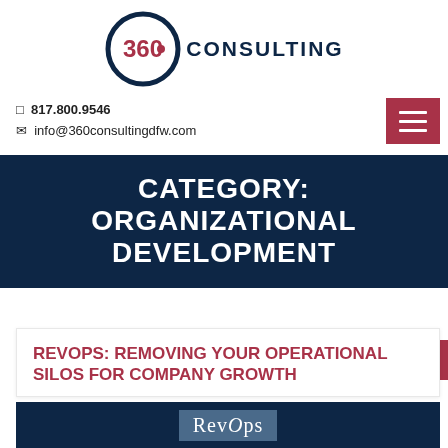[Figure (logo): 360 Consulting logo with dark navy circle outline and red dot, text 'CONSULTING' in dark navy letters]
☎ 817.800.9546
✉ info@360consultingdfw.com
CATEGORY: ORGANIZATIONAL DEVELOPMENT
REVOPS: REMOVING YOUR OPERATIONAL SILOS FOR COMPANY GROWTH
[Figure (screenshot): Dark navy background with 'RevOps' text badge in teal/blue box]